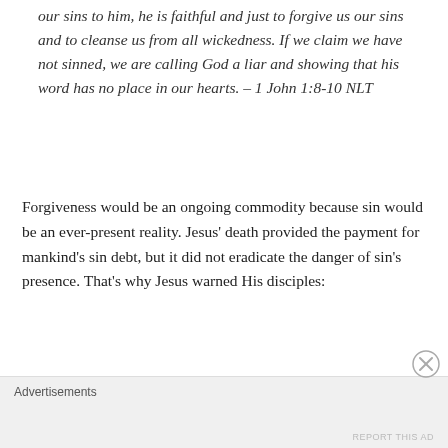our sins to him, he is faithful and just to forgive us our sins and to cleanse us from all wickedness. If we claim we have not sinned, we are calling God a liar and showing that his word has no place in our hearts. – 1 John 1:8-10 NLT
Forgiveness would be an ongoing commodity because sin would be an ever-present reality. Jesus' death provided the payment for mankind's sin debt, but it did not eradicate the danger of sin's presence. That's why Jesus warned His disciples:
“If another believer sins, rebuke that person; then if there is repentance, forgive. Even if that person wrongs
Advertisements